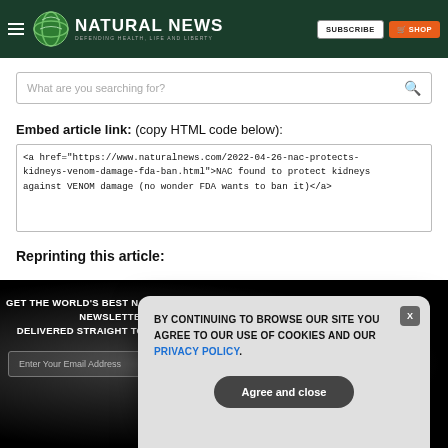NATURAL NEWS — DEFENDING HEALTH, LIFE AND LIBERTY
What are you searching for?
Embed article link: (copy HTML code below):
<a href="https://www.naturalnews.com/2022-04-26-nac-protects-kidneys-venom-damage-fda-ban.html">NAC found to protect kidneys against VENOM damage (no wonder FDA wants to ban it)</a>
Reprinting this article:
GET THE WORLD'S BEST NATURAL HEALTH NEWSLETTER DELIVERED STRAIGHT TO YOUR INBOX
Enter Your Email Address
BY CONTINUING TO BROWSE OUR SITE YOU AGREE TO OUR USE OF COOKIES AND OUR PRIVACY POLICY.
Agree and close